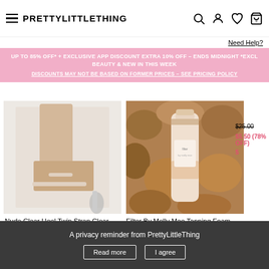PrettyLittleThing — navigation header with hamburger menu, logo, search, account, wishlist, cart icons
Need Help?
UP TO 85% OFF* + EXCLUSIVE APP DISCOUNT EXTRA 10% OFF – ENDS MIDNIGHT *EXCL BEAUTY & NEW IN THIS WEEK
DISCOUNTS MAY NOT BE BASED ON FORMER PRICES – SEE PRICING POLICY
[Figure (photo): Nude clear heel twin strap clear heels product photo showing woman's feet in transparent heeled sandals]
[Figure (photo): Filter By Molly Mae Tanning Foam product photo showing a bottle of tanning foam surrounded by wood pieces]
Nude Clear Heel Twin Strap Clear...
$58.00
$40.00 (31% OFF)
Filter By Molly Mae Tanning Foam...
$40.00
$25.00
$5.50 (78% OFF)
A privacy reminder from PrettyLittleThing — Read more | I agree